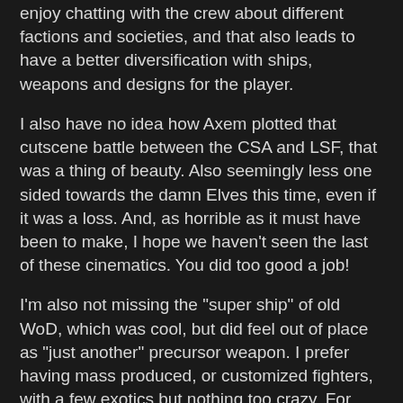enjoy chatting with the crew about different factions and societies, and that also leads to have a better diversification with ships, weapons and designs for the player.
I also have no idea how Axem plotted that cutscene battle between the CSA and LSF, that was a thing of beauty. Also seemingly less one sided towards the damn Elves this time, even if it was a loss. And, as horrible as it must have been to make, I hope we haven't seen the last of these cinematics. You did too good a job!
I'm also not missing the "super ship" of old WoD, which was cool, but did feel out of place as "just another" precursor weapon. I prefer having mass produced, or customized fighters, with a few exotics but nothing too crazy. For example, fitting heavy beams on the Excalibur feels just as satisfying as before, but it's just a mass produced anti-cap package. I prefer mid season weapon packs and upgrades. Still a satisfying boost of power, but not a super weapon.